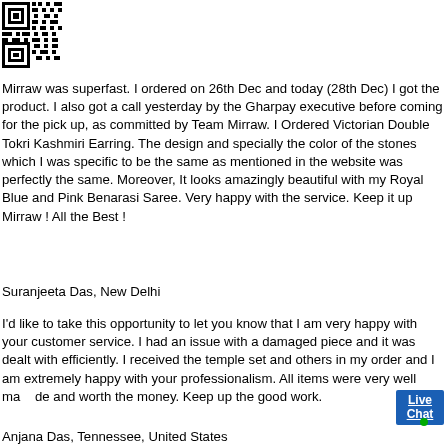[Figure (other): QR code image in the top-left corner]
Mirraw was superfast. I ordered on 26th Dec and today (28th Dec) I got the product. I also got a call yesterday by the Gharpay executive before coming for the pick up, as committed by Team Mirraw. I Ordered Victorian Double Tokri Kashmiri Earring. The design and specially the color of the stones which I was specific to be the same as mentioned in the website was perfectly the same. Moreover, It looks amazingly beautiful with my Royal Blue and Pink Benarasi Saree. Very happy with the service. Keep it up Mirraw ! All the Best !
Suranjeeta Das, New Delhi
I'd like to take this opportunity to let you know that I am very happy with your customer service. I had an issue with a damaged piece and it was dealt with efficiently. I received the temple set and others in my order and I am extremely happy with your professionalism. All items were very well made and worth the money. Keep up the good work.
Anjana Das, Tennessee, United States